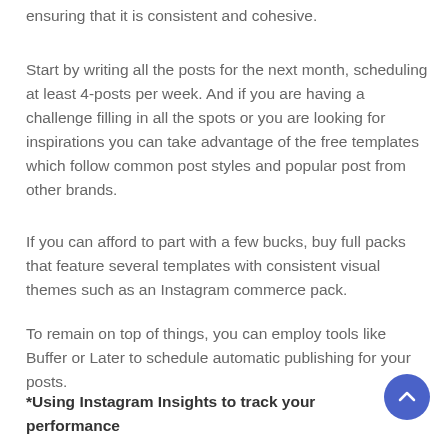ensuring that it is consistent and cohesive.
Start by writing all the posts for the next month, scheduling at least 4-posts per week. And if you are having a challenge filling in all the spots or you are looking for inspirations you can take advantage of the free templates which follow common post styles and popular post from other brands.
If you can afford to part with a few bucks, buy full packs that feature several templates with consistent visual themes such as an Instagram commerce pack.
To remain on top of things, you can employ tools like Buffer or Later to schedule automatic publishing for your posts.
*Using Instagram Insights to track your performance